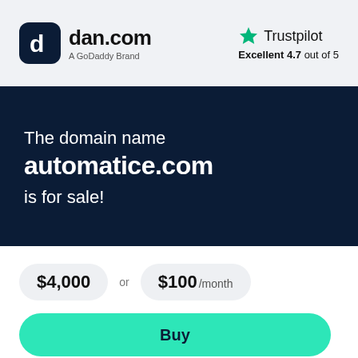[Figure (logo): dan.com logo — rounded square icon with stylized 'd' letter, followed by text 'dan.com' and subtitle 'A GoDaddy Brand']
[Figure (logo): Trustpilot logo with green star icon and text 'Trustpilot', rating 'Excellent 4.7 out of 5']
The domain name automatice.com is for sale!
$4,000 or $100 /month
Buy